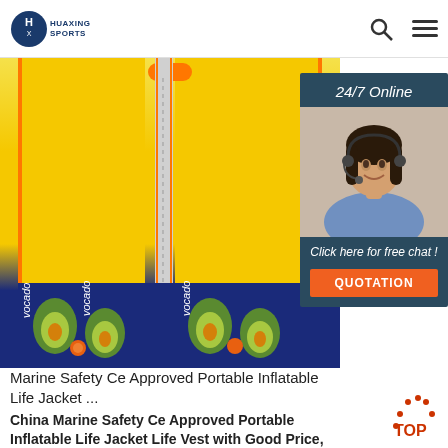HUAXING SPORTS
[Figure (photo): Yellow neoprene children's life jacket/swim vest with orange zipper trim and avocado-print navy blue lower band. A customer service chat widget is overlaid on the right side showing a smiling woman with headset, '24/7 Online' text, 'Click here for free chat!' and an orange QUOTATION button.]
Marine Safety Ce Approved Portable Inflatable Life Jacket ...
China Marine Safety Ce Approved Portable Inflatable Life Jacket Life Vest with Good Price, Find details about China Life Jacket, Marine Equipment from Marine Safety Ce Approved Portable Inflatable Life Jacket Life Vest with